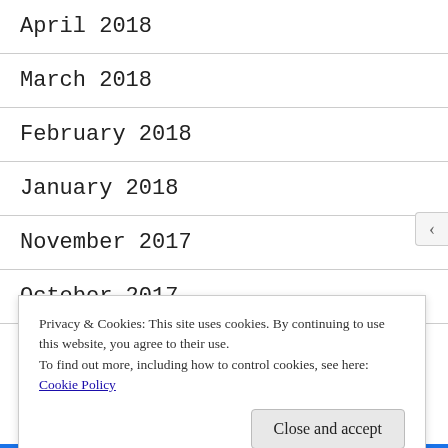April 2018
March 2018
February 2018
January 2018
November 2017
October 2017
September 2017
Privacy & Cookies: This site uses cookies. By continuing to use this website, you agree to their use.
To find out more, including how to control cookies, see here: Cookie Policy
Close and accept